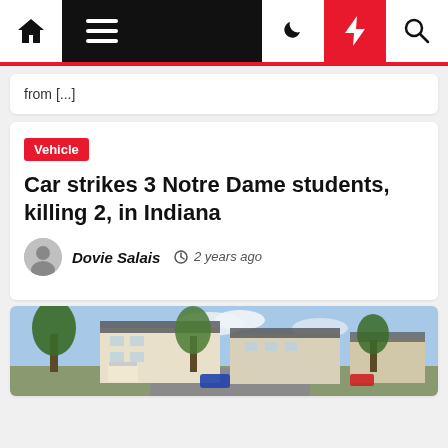Navigation bar with home, menu, dark mode, breaking news, and search icons
from [...]
Vehicle
Car strikes 3 Notre Dame students, killing 2, in Indiana
Dovie Salais  2 years ago
[Figure (photo): Street view photo of residential buildings with trees and parking lot]